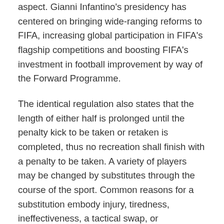aspect. Gianni Infantino's presidency has centered on bringing wide-ranging reforms to FIFA, increasing global participation in FIFA's flagship competitions and boosting FIFA's investment in football improvement by way of the Forward Programme.
The identical regulation also states that the length of either half is prolonged until the penalty kick to be taken or retaken is completed, thus no recreation shall finish with a penalty to be taken. A variety of players may be changed by substitutes through the course of the sport. Common reasons for a substitution embody injury, tiredness, ineffectiveness, a tactical swap, or timewasting at the finish of a finely poised sport. In standard grownup matches, a player who has been substituted might not take additional half in a match. IFAB recommends "that a match should not continue if there are fewer than seven gamers in either group".
The main law is that players apart from goalkeepers might not deliberately handle the ball with their hands or arms